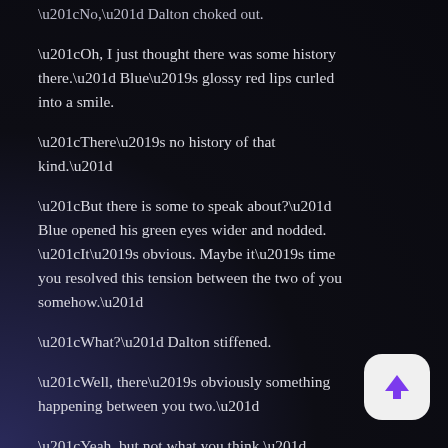“No,” Dalton choked out.
“Oh, I just thought there was some history there.” Blue’s glossy red lips curled into a smile.
“There’s no history of that kind.”
“But there is some to speak about?” Blue opened his green eyes wider and nodded. “It’s obvious. Maybe it’s time you resolved this tension between the two of you somehow.”
“What?” Dalton stiffened.
“Well, there’s obviously something happening between you two.”
“Yeah, but not what you think.”
Blue bit his lip while he thought. “Hmm,